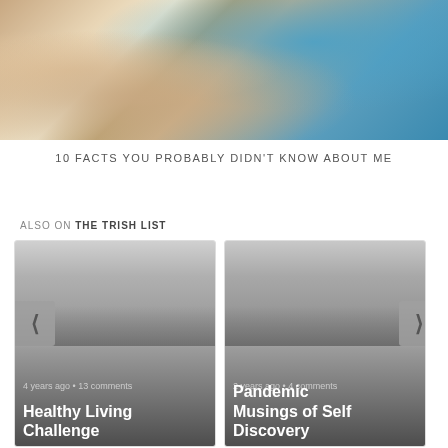[Figure (photo): Close-up photo of a hand wearing a diamond ring resting on what appears to be a dog with light-colored fur, with a blue fabric visible in the background.]
10 FACTS YOU PROBABLY DIDN'T KNOW ABOUT ME
ALSO ON THE TRISH LIST
[Figure (photo): Card thumbnail: Healthy Living Challenge article card with left navigation arrow, showing '4 years ago • 13 comments']
[Figure (photo): Card thumbnail: Pandemic Musings of Self Discovery article card with right navigation arrow, showing '2 years ago • 4 comments']